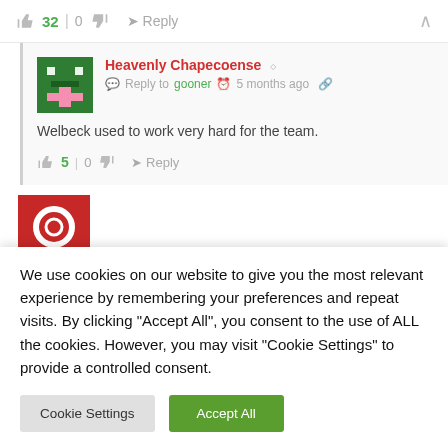👍 32 | 0 👎 → Reply ∧
Heavenly Chapecoense  Reply to gooner  5 months ago
Welbeck used to work very hard for the team.
👍 5 | 0 👎 → Reply
We use cookies on our website to give you the most relevant experience by remembering your preferences and repeat visits. By clicking "Accept All", you consent to the use of ALL the cookies. However, you may visit "Cookie Settings" to provide a controlled consent.
Cookie Settings | Accept All